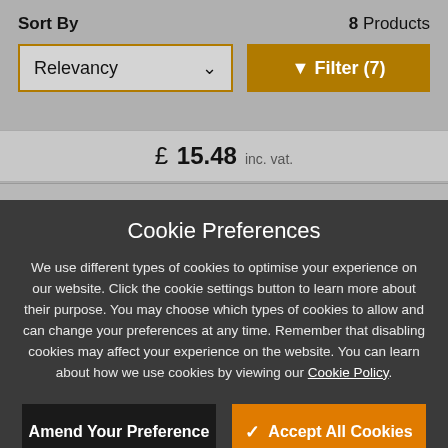Sort By
8 Products
Relevancy
Filter (7)
£ 15.48 inc. vat.
Cookie Preferences
We use different types of cookies to optimise your experience on our website. Click the cookie settings button to learn more about their purpose. You may choose which types of cookies to allow and can change your preferences at any time. Remember that disabling cookies may affect your experience on the website. You can learn about how we use cookies by viewing our Cookie Policy.
Amend Your Preference
Accept All Cookies